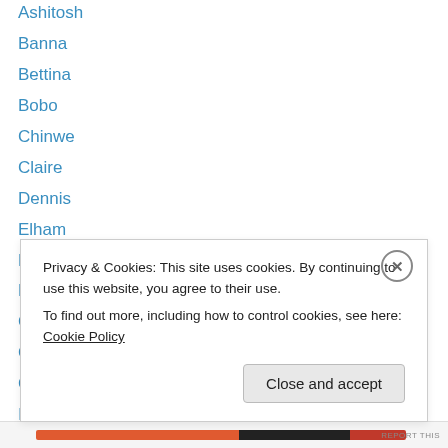Ashitosh
Banna
Bettina
Bobo
Chinwe
Claire
Dennis
Elham
Erkal
Fazil
Gabriel
Gareth
Ghalia
Hamza
Privacy & Cookies: This site uses cookies. By continuing to use this website, you agree to their use.
To find out more, including how to control cookies, see here: Cookie Policy
Close and accept